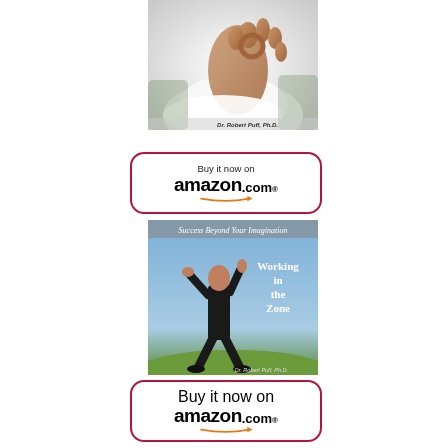[Figure (photo): Book cover showing a person in meditation pose making an OK gesture with their hand, white background. Author: Dr. Robert Puff, Ph.D.]
[Figure (other): Buy it now on amazon.com button with red rounded border and Amazon logo with orange arrow]
[Figure (photo): Book cover titled 'Success Beyond Your Imagination - Working in the Zone' showing a man in black suit looking up against a blue sky background. Author: Dr. Robert Puff, Ph.D.]
[Figure (other): Buy it now on amazon.com button with red rounded border and Amazon logo with orange arrow]